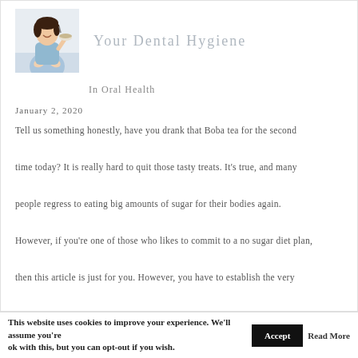[Figure (photo): Woman eating a bowl of food, sitting cross-legged, smiling]
Your Dental Hygiene
In Oral Health
January 2, 2020
Tell us something honestly, have you drank that Boba tea for the second time today? It is really hard to quit those tasty treats. It's true, and many people regress to eating big amounts of sugar for their bodies again. However, if you're one of those who likes to commit to a no sugar diet plan, then this article is just for you. However, you have to establish the very
This website uses cookies to improve your experience. We'll assume you're ok with this, but you can opt-out if you wish.
Accept
Read More